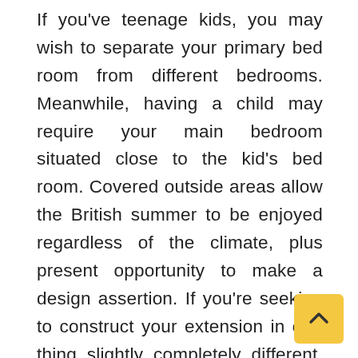If you've teenage kids, you may wish to separate your primary bed room from different bedrooms. Meanwhile, having a child may require your main bedroom situated close to the kid's bed room. Covered outside areas allow the British summer to be enjoyed regardless of the climate, plus present opportunity to make a design assertion. If you're seeking to construct your extension in one thing slightly completely different, don't dismiss concrete. The material is no longer being covered up however exposed as an architectural finish, known as 'visual concrete', in home builds. It's a great material to use externally — it's durab doesn't require a lot upkeep and may be left